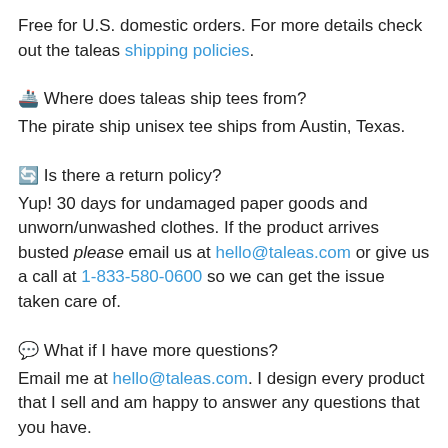Free for U.S. domestic orders. For more details check out the taleas shipping policies.
🚢 Where does taleas ship tees from?
The pirate ship unisex tee ships from Austin, Texas.
🔄 Is there a return policy?
Yup! 30 days for undamaged paper goods and unworn/unwashed clothes. If the product arrives busted please email us at hello@taleas.com or give us a call at 1-833-580-0600 so we can get the issue taken care of.
💬 What if I have more questions?
Email me at hello@taleas.com. I design every product that I sell and am happy to answer any questions that you have.